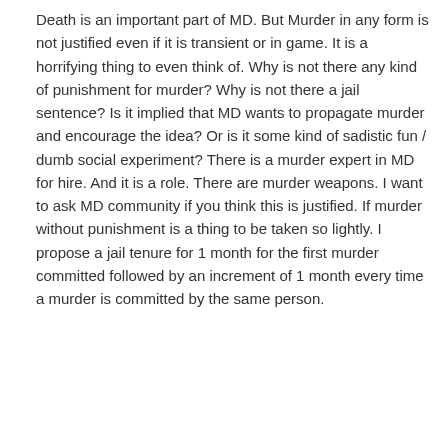Death is an important part of MD. But Murder in any form is not justified even if it is transient or in game. It is a horrifying thing to even think of. Why is not there any kind of punishment for murder? Why is not there a jail sentence? Is it implied that MD wants to propagate murder and encourage the idea? Or is it some kind of sadistic fun / dumb social experiment? There is a murder expert in MD for hire. And it is a role. There are murder weapons. I want to ask MD community if you think this is justified. If murder without punishment is a thing to be taken so lightly. I propose a jail tenure for 1 month for the first murder committed followed by an increment of 1 month every time a murder is committed by the same person.
▲ 2   ▼ 3
Root Admin
Muratus del Mur
Posted August 30, 2013